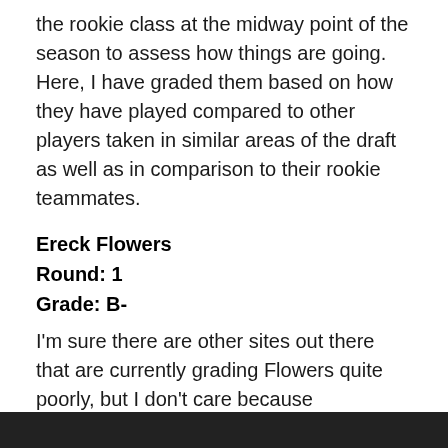the rookie class at the midway point of the season to assess how things are going. Here, I have graded them based on how they have played compared to other players taken in similar areas of the draft as well as in comparison to their rookie teammates.
Ereck Flowers
Round: 1
Grade: B-
I'm sure there are other sites out there that are currently grading Flowers quite poorly, but I don't care because sometimes, it's not as simple as adding up scores on each play. Flowers has had his rough moments. I won't deny that for a second, but it's important to realize that his task is unbelievably difficult.
[Figure (photo): Dark image strip at the bottom of the page]